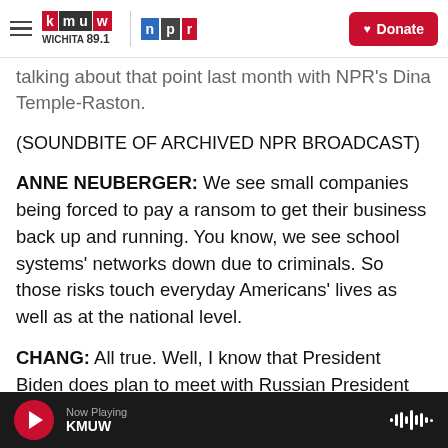KMUW Wichita 89.1 | NPR | Donate
talking about that point last month with NPR's Dina Temple-Raston.
(SOUNDBITE OF ARCHIVED NPR BROADCAST)
ANNE NEUBERGER: We see small companies being forced to pay a ransom to get their business back up and running. You know, we see school systems' networks down due to criminals. So those risks touch everyday Americans' lives as well as at the national level.
CHANG: All true. Well, I know that President Biden does plan to meet with Russian President Vladimir
Now Playing KMUW